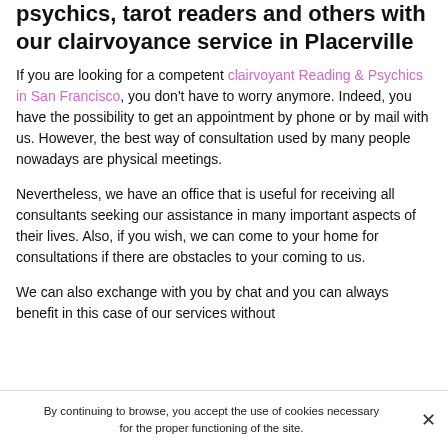psychics, tarot readers and others with our clairvoyance service in Placerville
If you are looking for a competent clairvoyant Reading & Psychics in San Francisco, you don't have to worry anymore. Indeed, you have the possibility to get an appointment by phone or by mail with us. However, the best way of consultation used by many people nowadays are physical meetings.
Nevertheless, we have an office that is useful for receiving all consultants seeking our assistance in many important aspects of their lives. Also, if you wish, we can come to your home for consultations if there are obstacles to your coming to us.
We can also exchange with you by chat and you can always benefit in this case of our services without
By continuing to browse, you accept the use of cookies necessary for the proper functioning of the site.